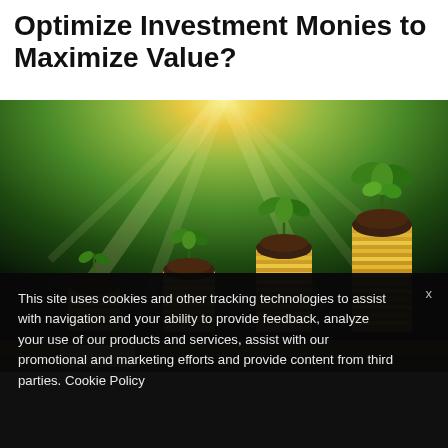Optimize Investment Monies to Maximize Value?
[Figure (photo): Four stacks of coins of increasing height, each with a small green plant sprouting from soil on top, set against a bright sunlit green bokeh background, symbolizing growing investments.]
This site uses cookies and other tracking technologies to assist with navigation and your ability to provide feedback, analyze your use of our products and services, assist with our promotional and marketing efforts and provide content from third parties. Cookie Policy